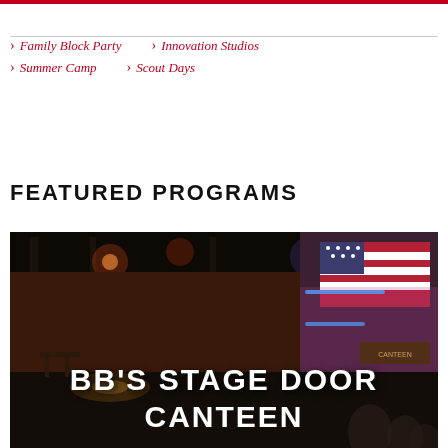Family Block Party
Innovation Studios
Summer Camp
Scout Days
FEATURED PROGRAMS
[Figure (photo): Interior of BB's Stage Door Canteen venue with stage lighting, American flag on wall, and decorative elements. Text overlay reads BB'S STAGE DOOR CANTEEN.]